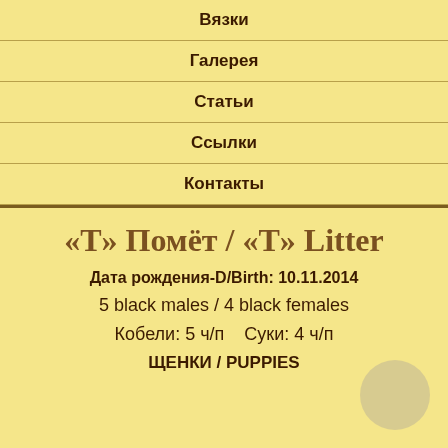Вязки
Галерея
Статьи
Ссылки
Контакты
«T» Помёт / «T» Litter
Дата рождения-D/Birth: 10.11.2014
5 black males / 4 black females
Кобели: 5 ч/п    Суки: 4 ч/п
ЩЕНКИ / PUPPIES